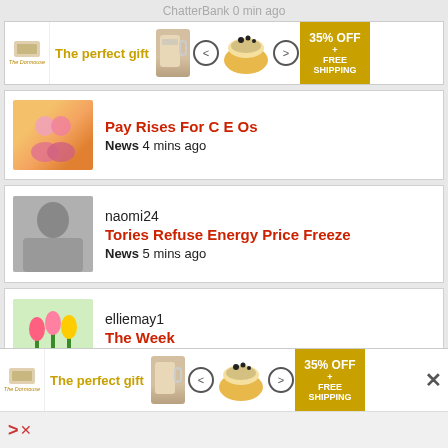ChatterBank 0 min ago
[Figure (screenshot): Ad banner: The perfect gift, showing a mug, navigation arrows, a bowl of food, and 35% OFF + FREE SHIPPING offer]
Pay Rises For C E Os
News 4 mins ago
naomi24
Tories Refuse Energy Price Freeze
News 5 mins ago
elliemay1
The Week
Crosswords 5 mins ago
maggiebee
Dad Joke Of The Day
Jokes 14 mins ago
[Figure (screenshot): Bottom ad banner: The perfect gift, same layout as top ad with 35% OFF + FREE SHIPPING]